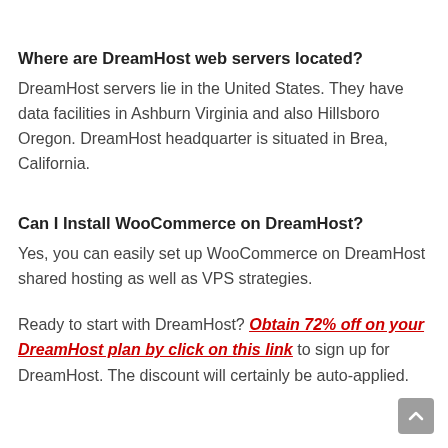Where are DreamHost web servers located?
DreamHost servers lie in the United States. They have data facilities in Ashburn Virginia and also Hillsboro Oregon. DreamHost headquarter is situated in Brea, California.
Can I Install WooCommerce on DreamHost?
Yes, you can easily set up WooCommerce on DreamHost shared hosting as well as VPS strategies.
Ready to start with DreamHost? Obtain 72% off on your DreamHost plan by click on this link to sign up for DreamHost. The discount will certainly be auto-applied.